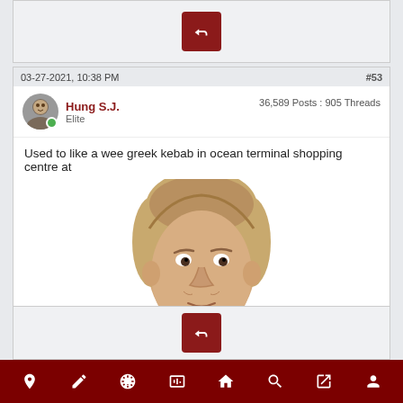[Figure (screenshot): Top reply button bar with dark red reply icon]
03-27-2021, 10:38 PM
#53
Hung S.J.
Elite
36,589 Posts : 905 Threads
Used to like a wee greek kebab in ocean terminal shopping centre at
[Figure (photo): Photo of a man's face (Roy Hodgson meme)]
lunchtime
[Figure (screenshot): Bottom reply button bar with dark red reply icon]
Bottom navigation bar with icons: location, pen, soccer ball, playing cards, home, search, external link, user